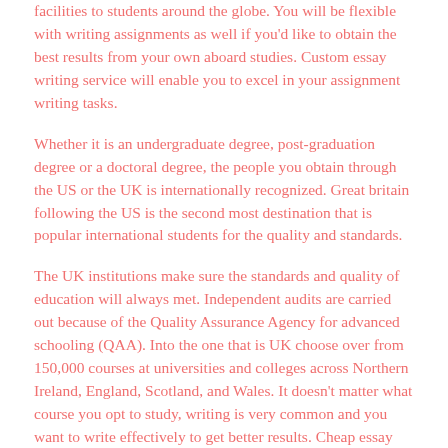facilities to students around the globe. You will be flexible with writing assignments as well if you'd like to obtain the best results from your own aboard studies. Custom essay writing service will enable you to excel in your assignment writing tasks.
Whether it is an undergraduate degree, post-graduation degree or a doctoral degree, the people you obtain through the US or the UK is internationally recognized. Great britain following the US is the second most destination that is popular international students for the quality and standards.
The UK institutions make sure the standards and quality of education will always met. Independent audits are carried out because of the Quality Assurance Agency for advanced schooling (QAA). Into the one that is UK choose over from 150,000 courses at universities and colleges across Northern Ireland, England, Scotland, and Wales. It doesn't matter what course you opt to study, writing is very common and you want to write effectively to get better results. Cheap essay writing services 've got expert academic paper writers who are able to write high-quality papers for you personally each and every time.